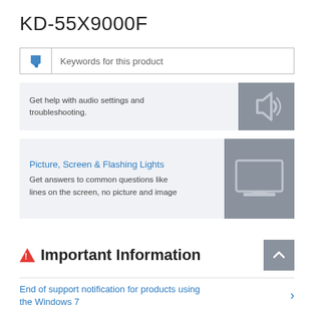KD-55X9000F
Keywords for this product
Get help with audio settings and troubleshooting.
Picture, Screen & Flashing Lights
Get answers to common questions like lines on the screen, no picture and image
Important Information
End of support notification for products using the Windows 7